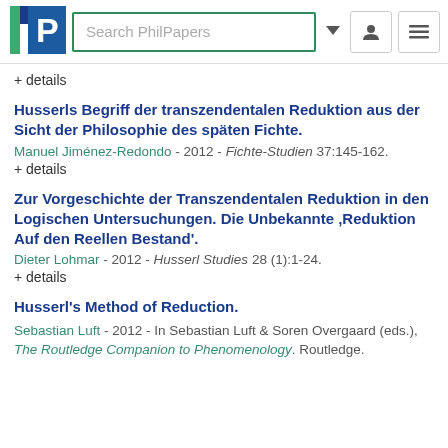[Figure (logo): PhilPapers logo with search bar and navigation buttons]
+ details
Husserls Begriff der transzendentalen Reduktion aus der Sicht der Philosophie des späten Fichte.
Manuel Jiménez-Redondo - 2012 - Fichte-Studien 37:145-162.
+ details
Zur Vorgeschichte der Transzendentalen Reduktion in den Logischen Untersuchungen. Die Unbekannte 'Reduktion Auf den Reellen Bestand'.
Dieter Lohmar - 2012 - Husserl Studies 28 (1):1-24.
+ details
Husserl's Method of Reduction.
Sebastian Luft - 2012 - In Sebastian Luft & Soren Overgaard (eds.), The Routledge Companion to Phenomenology. Routledge.